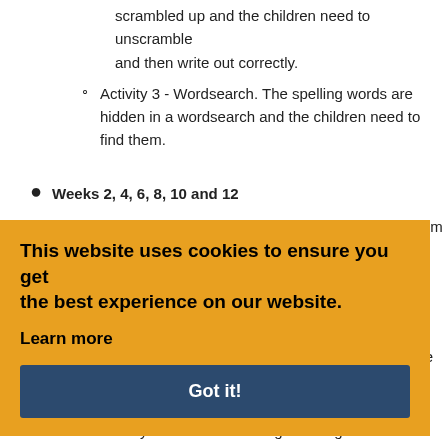scrambled up and the children need to unscramble and then write out correctly.
Activity 3 - Wordsearch. The spelling words are hidden in a wordsearch and the children need to find them.
Weeks 2, 4, 6, 8, 10 and 12
10 spelling words from the new National Curriculum statutory word list or words from previous SATs tests.
Activity 1 - Definitions. Children need to match the correct spelling word with the correct definition.
Activity 2 - Missing vowels. The spelling words are jumbled up and the children need to add the missing vowels to correctly spell each word. Once completed they have to write them out in alphabetical order.
Activity 3 - 100 word writing challenge. A visual